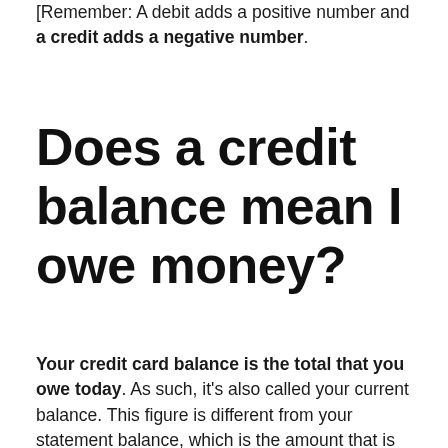[Remember: A debit adds a positive number and a credit adds a negative number.
Does a credit balance mean I owe money?
Your credit card balance is the total that you owe today. As such, it's also called your current balance. This figure is different from your statement balance, which is the amount that is reflected on